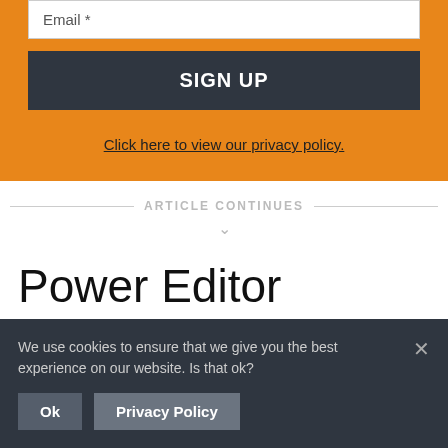Email *
SIGN UP
Click here to view our privacy policy.
ARTICLE CONTINUES
Power Editor
We use cookies to ensure that we give you the best experience on our website. Is that ok?
Ok
Privacy Policy